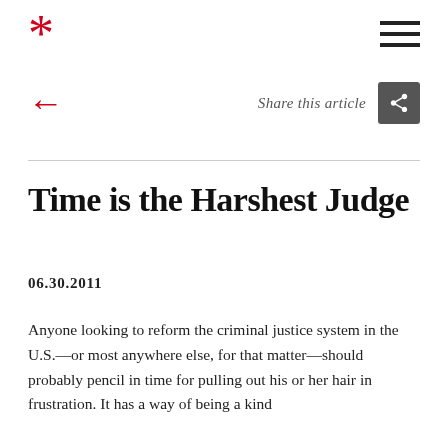* [asterisk logo] [hamburger menu]
[Figure (logo): Red asterisk logo icon on the left; hamburger menu (three horizontal lines) on the right]
← Share this article [share button]
Time is the Harshest Judge
06.30.2011
Anyone looking to reform the criminal justice system in the U.S.—or most anywhere else, for that matter—should probably pencil in time for pulling out his or her hair in frustration. It has a way of being a kind...